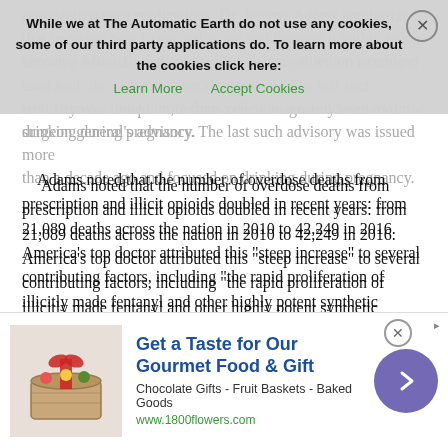prescription pain medications. Dr. Jerome Adams emphasized that knowing how to use naloxone and keeping it within reach can save a life. To make this point, Adams relied on a rarely used tool: the surgeon general's advisory. The last such advisory was issued more than a decade ago and focused on drinking during pregnancy.
Adams noted that the number of overdose deaths from prescription and illicit opioids doubled in recent years: from 21,089 deaths across the nation in 2010 to 42,249 in 2016. America’s top doctor attributed this “steep increase” to several contributing factors, including “the rapid proliferation of illicitly made fentanyl and other highly potent synthetic opioids” and “an increasing number of individuals receiving higher doses of prescription opioids for long-term management of chronic pain.”
Read more …
[Figure (other): Cookie consent banner overlay: 'While we at The Automatic Earth do not use any cookies, some of our third party applications do. To learn more about the cookies click here: Learn More | Accept Cookies']
[Figure (other): Advertisement banner for 1800flowers.com: Get a Taste for Our Gourmet Food & Gift. Chocolate Gifts - Fruit Baskets - Baked Goods. www.1800flowers.com. Shows gift basket image and purple arrow button.]